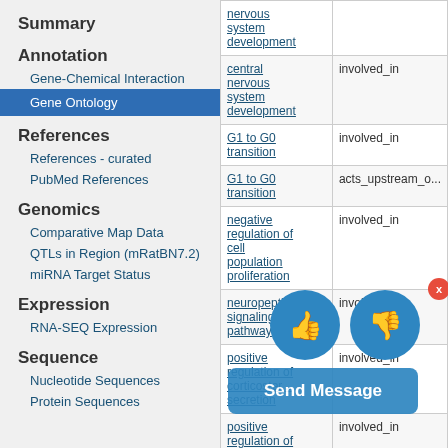Summary
Annotation
Gene-Chemical Interaction
Gene Ontology
References
References - curated
PubMed References
Genomics
Comparative Map Data
QTLs in Region (mRatBN7.2)
miRNA Target Status
Expression
RNA-SEQ Expression
Sequence
Nucleotide Sequences
Protein Sequences
| Term | Relation |
| --- | --- |
| nervous system development |  |
| central nervous system development | involved_in |
| G1 to G0 transition | involved_in |
| G1 to G0 transition | acts_upstream_o... |
| negative regulation of cell population proliferation | involved_in |
| neuropeptide signaling pathway | involved_in |
| positive regulation of corticosterone secretion | involved_in |
| positive regulation of corticotropin secretion | involved_in |